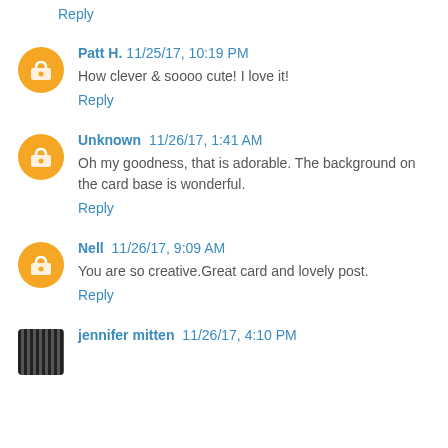Reply
Patt H. 11/25/17, 10:19 PM
How clever & soooo cute! I love it!
Reply
Unknown 11/26/17, 1:41 AM
Oh my goodness, that is adorable. The background on the card base is wonderful.
Reply
Nell 11/26/17, 9:09 AM
You are so creative.Great card and lovely post.
Reply
jennifer mitten 11/26/17, 4:10 PM